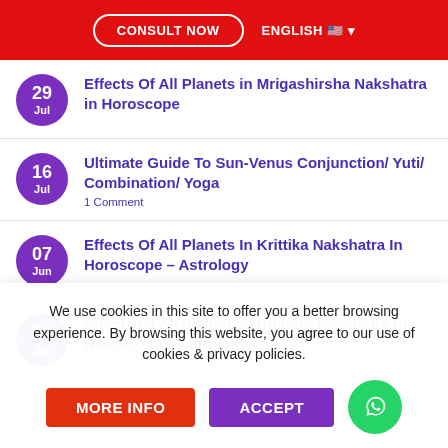CONSULT NOW | ENGLISH
29 Jul — Effects Of All Planets in Mrigashirsha Nakshatra in Horoscope
16 Jul — Ultimate Guide To Sun-Venus Conjunction/ Yuti/ Combination/ Yoga — 1 Comment
07 Jun — Effects Of All Planets In Krittika Nakshatra In Horoscope – Astrology
06 Jun — Effects Of All Planets In Bharani Nakshatra In Horoscope – Astrology
We use cookies in this site to offer you a better browsing experience. By browsing this website, you agree to our use of cookies & privacy policies.
MORE INFO | ACCEPT